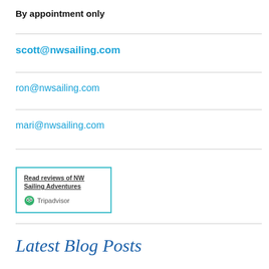By appointment only
scott@nwsailing.com
ron@nwsailing.com
mari@nwsailing.com
[Figure (other): TripAdvisor widget box with link 'Read reviews of NW Sailing Adventures' and TripAdvisor owl logo]
Latest Blog Posts